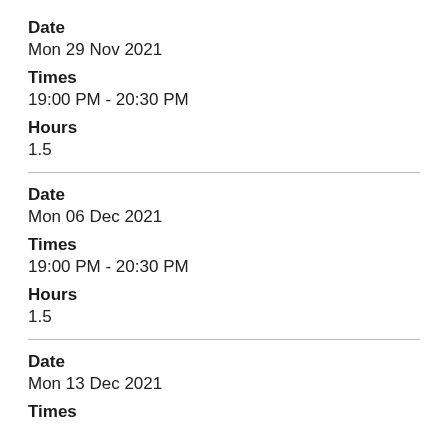Date
Mon 29 Nov 2021
Times
19:00 PM - 20:30 PM
Hours
1.5
Date
Mon 06 Dec 2021
Times
19:00 PM - 20:30 PM
Hours
1.5
Date
Mon 13 Dec 2021
Times